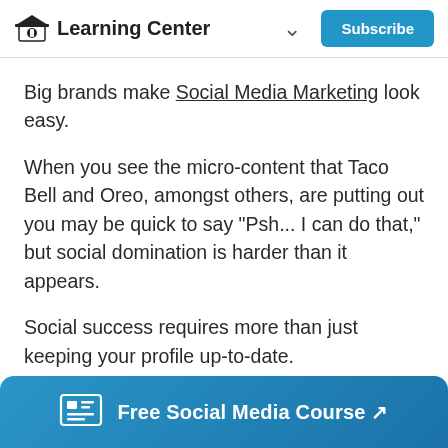Learning Center
Big brands make Social Media Marketing look easy.
When you see the micro-content that Taco Bell and Oreo, amongst others, are putting out you may be quick to say "Psh... I can do that," but social domination is harder than it appears.
Social success requires more than just keeping your profile up-to-date.
To truly capitalize on the power of social media, you need to establish a lively presence
Free Social Media Course ↗